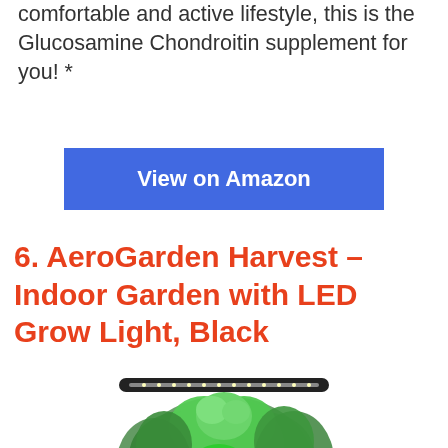comfortable and active lifestyle, this is the Glucosamine Chondroitin supplement for you! *
View on Amazon
6. AeroGarden Harvest – Indoor Garden with LED Grow Light, Black
[Figure (photo): AeroGarden Harvest indoor garden unit with LED grow light panel on top and lush green herbs growing underneath, on white background]